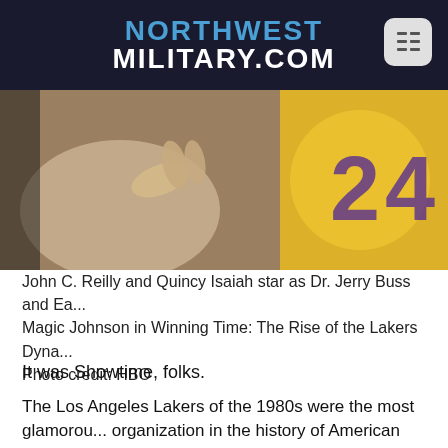NORTHWEST MILITARY.COM
[Figure (photo): Photo of actors in Lakers-related scene, showing a hand gesture and a yellow/purple Lakers jersey, from HBO's Winning Time series.]
John C. Reilly and Quincy Isaiah star as Dr. Jerry Buss and Earvin "Magic" Magic Johnson in Winning Time: The Rise of the Lakers Dynasty. Photo credit: HBO
It was Showtime, folks.
The Los Angeles Lakers of the 1980s were the most glamorous organization in the history of American sports, from the immensely talented lineups led by Kareem Abdul-Jabbar and Earvin "Magic" Johnson that produced five NBA titles to the Hollywood stars in the stands (Hello, Jack!) to the Paula Abdul-led "Laker Girls" dance squad to their notoriously hedonistic owner Dr. Jerry Buss. Even their head coach for most of the journey, Pat Riley, cut such a dashing figure he was offered — and turned down — a lead role...